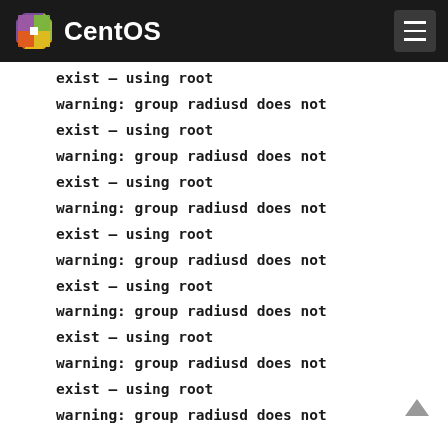CentOS
exist – using root
warning: group radiusd does not
exist – using root
warning: group radiusd does not
exist – using root
warning: group radiusd does not
exist – using root
warning: group radiusd does not
exist – using root
warning: group radiusd does not
exist – using root
warning: group radiusd does not
exist – using root
warning: group radiusd does not